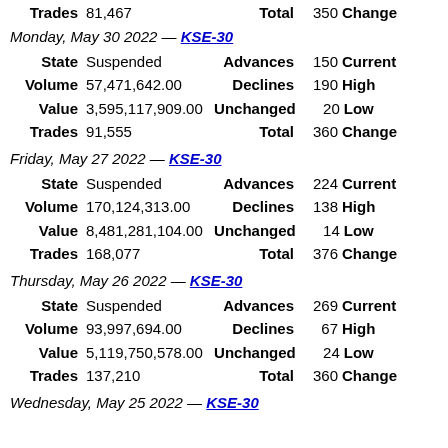Trades 81,467 Total 350 Change
Monday, May 30 2022 — KSE-30
|  |  |  |  |  |
| --- | --- | --- | --- | --- |
| State | Suspended | Advances | 150 | Current |
| Volume | 57,471,642.00 | Declines | 190 | High |
| Value | 3,595,117,909.00 | Unchanged | 20 | Low |
| Trades | 91,555 | Total | 360 | Change |
Friday, May 27 2022 — KSE-30
|  |  |  |  |  |
| --- | --- | --- | --- | --- |
| State | Suspended | Advances | 224 | Current |
| Volume | 170,124,313.00 | Declines | 138 | High |
| Value | 8,481,281,104.00 | Unchanged | 14 | Low |
| Trades | 168,077 | Total | 376 | Change |
Thursday, May 26 2022 — KSE-30
|  |  |  |  |  |
| --- | --- | --- | --- | --- |
| State | Suspended | Advances | 269 | Current |
| Volume | 93,997,694.00 | Declines | 67 | High |
| Value | 5,119,750,578.00 | Unchanged | 24 | Low |
| Trades | 137,210 | Total | 360 | Change |
Wednesday, May 25 2022 — KSE-30